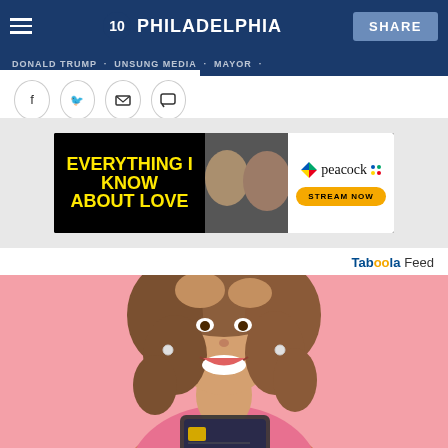NBC 10 Philadelphia | DONALD TRUMP · UNSUNG MEDIA · MAYOR · SHARE
[Figure (screenshot): Social share icons: Facebook, Twitter, Email, Comment]
[Figure (infographic): Peacock streaming ad banner: 'Everything I Know About Love' - Stream Now]
Tab00la Feed
[Figure (photo): Young woman with curly hair smiling, holding a credit card, on pink background - Taboola feed advertisement]